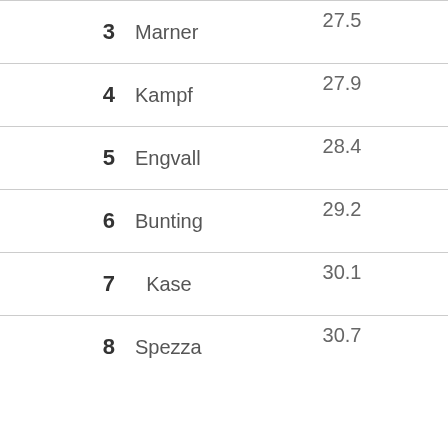| Rank | Name | Score |
| --- | --- | --- |
| 3 | Marner | 27.5 |
| 4 | Kampf | 27.9 |
| 5 | Engvall | 28.4 |
| 6 | Bunting | 29.2 |
| 7 | Kase | 30.1 |
| 8 | Spezza | 30.7 |